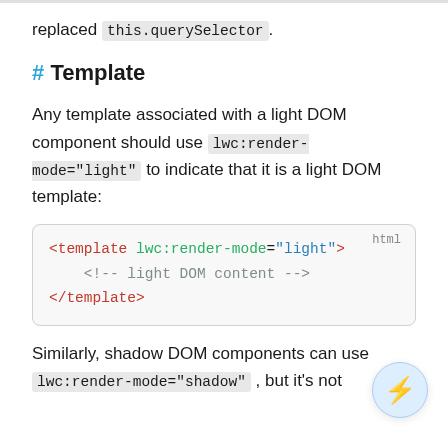replaced this.querySelector.
# Template
Any template associated with a light DOM component should use lwc:render-mode="light" to indicate that it is a light DOM template:
[Figure (screenshot): Code block showing HTML: <template lwc:render-mode="light">  <!-- light DOM content --> </template>]
Similarly, shadow DOM components can use lwc:render-mode="shadow", but it's not